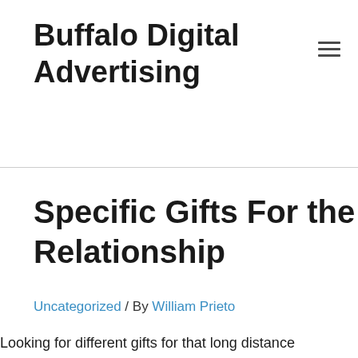Buffalo Digital Advertising
Specific Gifts For the Long Distance Relationship
Uncategorized / By William Prieto
Looking for different gifts for that long distance relationship? Below are a few ideas. Using modern tools, these bracelet connect your phone to the recipient. There are plenty of patterns available, including wristbands with a cardiovascular motif or a quote. A keychain with the loved a person's inventeur is also a cute product for a long distance relationship. In the event the recipient can be described as techie, there are also unique gift items for a long distance relationship that avoid involve electronics.